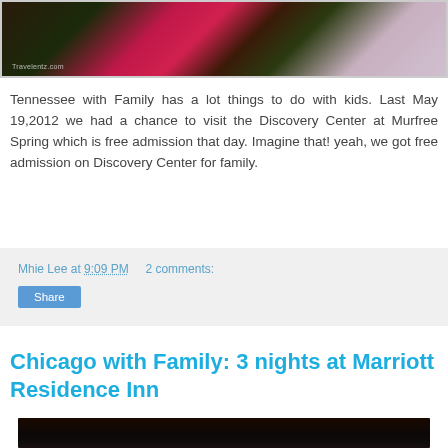[Figure (photo): Top portion of a photo showing pink flowers and dark leaves, with watermark 'Travelentz.com']
Tennessee with Family has a lot things to do with kids. Last May 19,2012 we had a chance to visit the Discovery Center at Murfree Spring which is free admission that day. Imagine that! yeah, we got free admission on Discovery Center for family.
Mhie Lee at 9:09 PM   2 comments:
Share
Chicago with Family: 3 nights at Marriott Residence Inn
[Figure (photo): Bottom portion of a dark photo, partially visible at the bottom of the page]